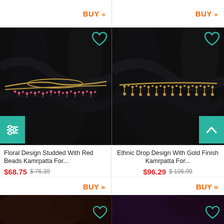[Figure (photo): Top section showing two product cards with BUY buttons, partially cropped at top]
[Figure (photo): Floral Design Studded With Red Beads Kamrpatta belt on black fabric background with teal heart icon]
[Figure (photo): Ethnic Drop Design With Gold Finish Kamrpatta belt on black fabric background with teal heart icon]
Floral Design Studded With Red Beads Kamrpatta For...
$68.75  $ 76.39
Ethnic Drop Design With Gold Finish Kamrpatta For...
$96.29  $ 106.99
BUY »
BUY »
[Figure (photo): Bottom strip showing two more product cards, partially cropped]